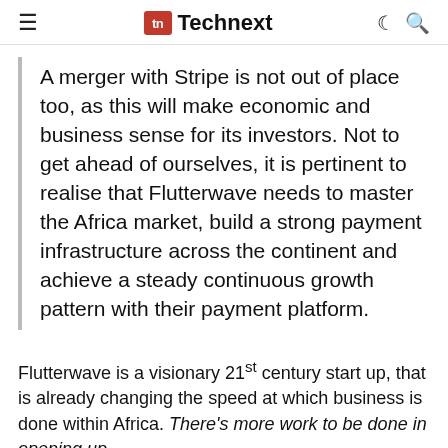≡  Technext
A merger with Stripe is not out of place too, as this will make economic and business sense for its investors. Not to get ahead of ourselves, it is pertinent to realise that Flutterwave needs to master the Africa market, build a strong payment infrastructure across the continent and achieve a steady continuous growth pattern with their payment platform.
Flutterwave is a visionary 21st century start up, that is already changing the speed at which business is done within Africa. There's more work to be done in opening up